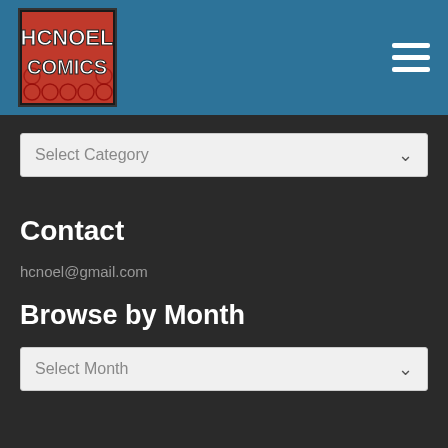[Figure (logo): HCNoel Comics logo - red background with stylized graffiti-style text reading HCNOEL COMICS]
[Figure (other): Hamburger menu icon - three horizontal white bars]
Select Category
Contact
hcnoel@gmail.com
Browse by Month
Select Month